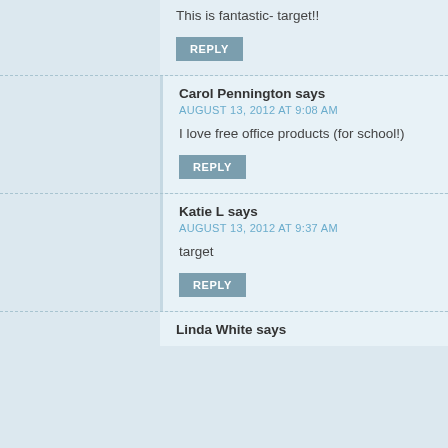This is fantastic- target!!
REPLY
Carol Pennington says
AUGUST 13, 2012 AT 9:08 AM
I love free office products (for school!)
REPLY
Katie L says
AUGUST 13, 2012 AT 9:37 AM
target
REPLY
Linda White says